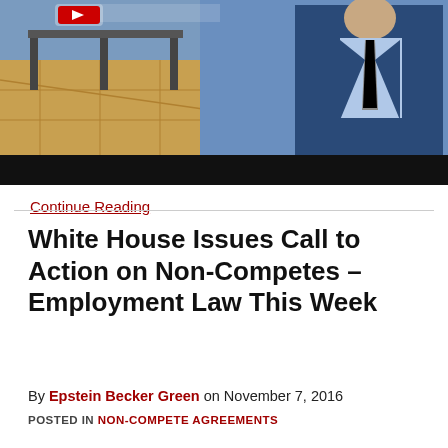[Figure (photo): Video thumbnail showing a man in a dark suit and striped tie standing on a rooftop terrace, with a YouTube-style play button overlay and a black bar at the bottom. The scene appears to be a law firm video segment.]
Continue Reading
White House Issues Call to Action on Non-Competes – Employment Law This Week
By Epstein Becker Green on November 7, 2016
POSTED IN NON-COMPETE AGREEMENTS